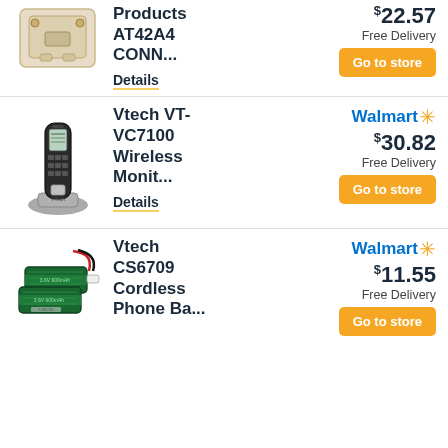[Figure (photo): Beige/cream colored telephone connector or wall plate product (AT42A4 CONN...)]
Products AT42A4 CONN...
$22.57
Free Delivery
Go to store
Details
[Figure (photo): VTech cordless phone handset with charging base (VT-VC7100 Wireless Monitor)]
Vtech VT-VC7100 Wireless Monit...
Walmart $30.82
Free Delivery
Go to store
Details
[Figure (photo): Two green rechargeable battery packs with red wires (Vtech CS6709 Cordless Phone Battery)]
Vtech CS6709 Cordless Phone Ba...
Walmart $11.55
Free Delivery
Go to store